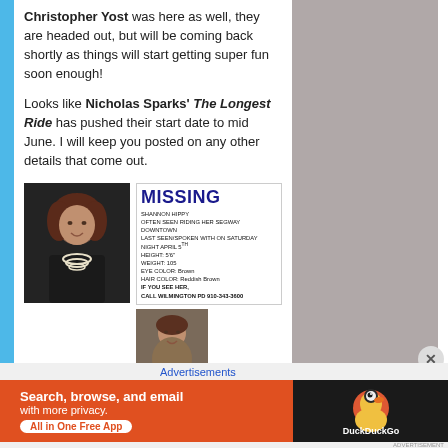Christopher Yost was here as well, they are headed out, but will be coming back shortly as things will start getting super fun soon enough!
Looks like Nicholas Sparks' The Longest Ride has pushed their start date to mid June. I will keep you posted on any other details that come out.
[Figure (photo): Missing person flyer for Shannon Hippy with photo, text: MISSING, SHANNON HIPPY, OFTEN SEEN RIDING HER SEGWAY DOWNTOWN, LAST SEEN/SPOKEN WITH ON SATURDAY NIGHT APRIL 5TH, HEIGHT: 5'6", WEIGHT: 105, EYE COLOR: Brown, HAIR COLOR: Reddish Brown, IF YOU SEE HER, CALL WILMINGTON PD 910-343-3600]
It has been 13 days since anyone has
Advertisements
[Figure (screenshot): DuckDuckGo advertisement banner: Search, browse, and email with more privacy. All in One Free App]